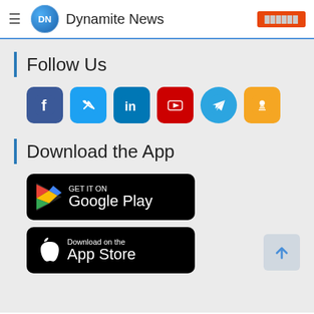Dynamite News
Follow Us
[Figure (infographic): Social media icons row: Facebook, Twitter, LinkedIn, YouTube, Telegram, and a share/notification icon]
Download the App
[Figure (infographic): Google Play Store download button (black, rounded rectangle)]
[Figure (infographic): Apple App Store download button (black, rounded rectangle)]